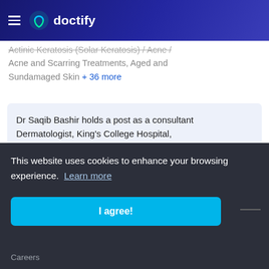doctify
Actinic Keratosis (Solar Keratosis) / Acne / Acne and Scarring Treatments, Aged and Sundamaged Skin + 36 more
Dr Saqib Bashir holds a post as a consultant Dermatologist, King's College Hospital, Read more
1 2 3 4 5 6
This website uses cookies to enhance your browsing experience. Learn more
I agree!
Careers